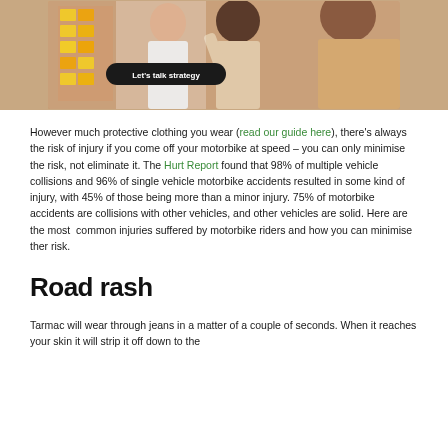[Figure (photo): Photo of people in a meeting looking at sticky notes on a wall, with a dark pill-shaped button overlay reading 'Let's talk strategy']
However much protective clothing you wear (read our guide here), there's always the risk of injury if you come off your motorbike at speed – you can only minimise the risk, not eliminate it. The Hurt Report found that 98% of multiple vehicle collisions and 96% of single vehicle motorbike accidents resulted in some kind of injury, with 45% of those being more than a minor injury. 75% of motorbike accidents are collisions with other vehicles, and other vehicles are solid. Here are the most common injuries suffered by motorbike riders and how you can minimise ther risk.
Road rash
Tarmac will wear through jeans in a matter of a couple of seconds. When it reaches your skin it will strip it off down to the